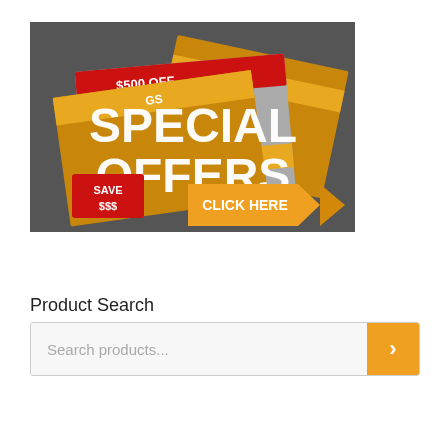[Figure (infographic): Promotional banner showing stacked sale flyers/cards with text: '$500 OFF', 'GAS MASKS', 'DRS', '25%', 'INSTANT', 'GS', 'lower', 'SPECIAL OFFERS' (large white text overlay), 'SAVE $$$' (red badge), 'CLICK HERE' (orange arrow button). Background is dark gray. Features a gas mask image.]
Product Search
Search products...